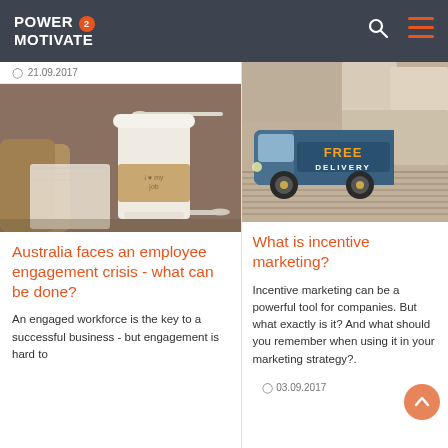POWER 2 MOTIVATE
21.09.2017
[Figure (photo): Close-up photo of a takeaway coffee cup with 'I love my job' written on it, placed on a desk with notebooks and a pen, warm tones]
Australia faces an employee engagement crisis - what can be done?
An engaged workforce is the key to a successful business - but engagement is hard to
[Figure (photo): Photo of a toy vintage blue van/truck with 'FREE DELIVERY' text on its side, with stacked beige boxes in the background]
What is incentive marketing?
Incentive marketing can be a powerful tool for companies. But what exactly is it? And what should you remember when using it in your marketing strategy?.
03.09.2017